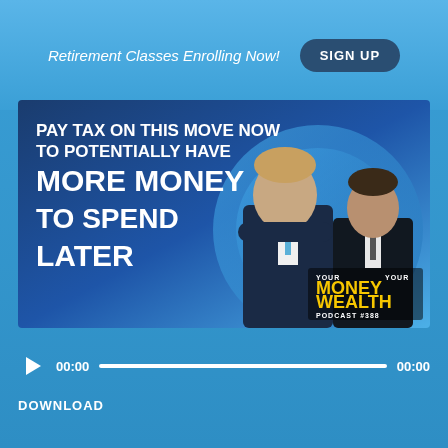Retirement Classes Enrolling Now!
SIGN UP
[Figure (illustration): Podcast thumbnail image with dark blue background showing two men in suits, with bold white text reading: PAY TAX ON THIS MOVE NOW TO POTENTIALLY HAVE MORE MONEY TO SPEND LATER. Logo reads YOUR MONEY YOUR WEALTH PODCAST #388]
00:00
00:00
DOWNLOAD